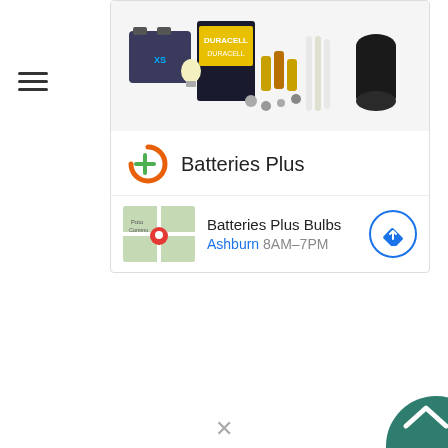[Figure (screenshot): Hamburger menu icon (three horizontal lines)]
[Figure (screenshot): Advertisement card for Batteries Plus showing battery products image at top, Batteries Plus brand logo and name, and a location row showing Batteries Plus Bulbs in Ashburn with hours 8AM-7PM and a map thumbnail with navigation button]